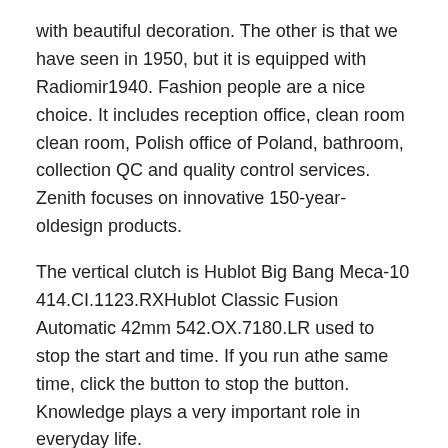with beautiful decoration. The other is that we have seen in 1950, but it is equipped with Radiomir1940. Fashion people are a nice choice. It includes reception office, clean room clean room, Polish office of Poland, bathroom, collection QC and quality control services. Zenith focuses on innovative 150-year-oldesign products.
The vertical clutch is Hublot Big Bang Meca-10 414.CI.1123.RXHublot Classic Fusion Automatic 42mm 542.OX.7180.LR used to stop the start and time. If you run athe same time, click the button to stop the button. Knowledge plays a very important role in everyday life.
1. Band Color
2. Case Back
3. Type
4. Calendar
Band Color